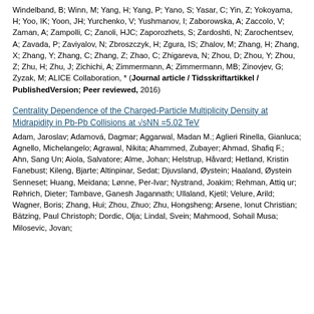Windelband, B; Winn, M; Yang, H; Yang, P; Yano, S; Yasar, C; Yin, Z; Yokoyama, H; Yoo, IK; Yoon, JH; Yurchenko, V; Yushmanov, I; Zaborowska, A; Zaccolo, V; Zaman, A; Zampolli, C; Zanoli, HJC; Zaporozhets, S; Zardoshti, N; Zarochentsev, A; Zavada, P; Zaviyalov, N; Zbroszczyk, H; Zgura, IS; Zhalov, M; Zhang, H; Zhang, X; Zhang, Y; Zhang, C; Zhang, Z; Zhao, C; Zhigareva, N; Zhou, D; Zhou, Y; Zhou, Z; Zhu, H; Zhu, J; Zichichi, A; Zimmermann, A; Zimmermann, MB; Zinovjev, G; Zyzak, M; ALICE Collaboration, * (Journal article / Tidsskriftartikkel / PublishedVersion; Peer reviewed, 2016)
Centrality Dependence of the Charged-Particle Multiplicity Density at Midrapidity in Pb-Pb Collisions at √sNN =5.02 TeV
Adam, Jaroslav; Adamová, Dagmar; Aggarwal, Madan M.; Aglieri Rinella, Gianluca; Agnello, Michelangelo; Agrawal, Nikita; Ahammed, Zubayer; Ahmad, Shafiq F.; Ahn, Sang Un; Aiola, Salvatore; Alme, Johan; Helstrup, Håvard; Hetland, Kristin Fanebust; Kileng, Bjarte; Altinpinar, Sedat; Djuvsland, Øystein; Haaland, Øystein Senneset; Huang, Meidana; Lønne, Per-Ivar; Nystrand, Joakim; Rehman, Attiq ur; Røhrich, Dieter; Tambave, Ganesh Jagannath; Ullaland, Kjetil; Velure, Arild; Wagner, Boris; Zhang, Hui; Zhou, Zhuo; Zhu, Hongsheng; Arsene, Ionut Christian; Bätzing, Paul Christoph; Dordic, Olja; Lindal, Svein; Mahmood, Sohail Musa; Milosevic, Jovan;